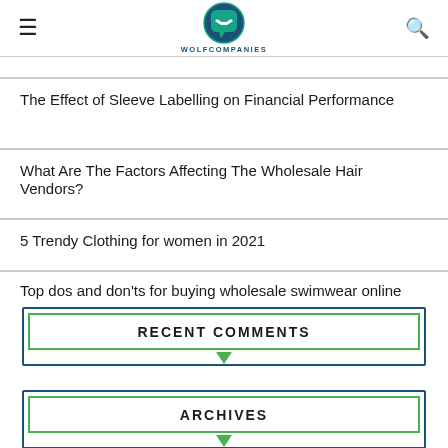WOLFCOMPANIES logo with hamburger menu and search icon
[partial nav item visible at top]
The Effect of Sleeve Labelling on Financial Performance
What Are The Factors Affecting The Wholesale Hair Vendors?
5 Trendy Clothing for women in 2021
Top dos and don'ts for buying wholesale swimwear online
RECENT COMMENTS
ARCHIVES